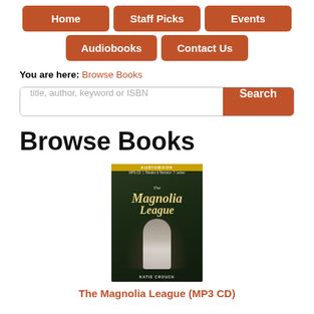Home | Staff Picks | Events | Audiobooks | Contact Us
You are here: Browse Books
title, author, keyword or ISBN
Browse Books
[Figure (illustration): Audiobook cover for The Magnolia League by Katie Crouch — dark background with a young woman in a white dress sitting among foliage, with decorative script title and an orange AUDIOBOOK banner at top]
The Magnolia League (MP3 CD)